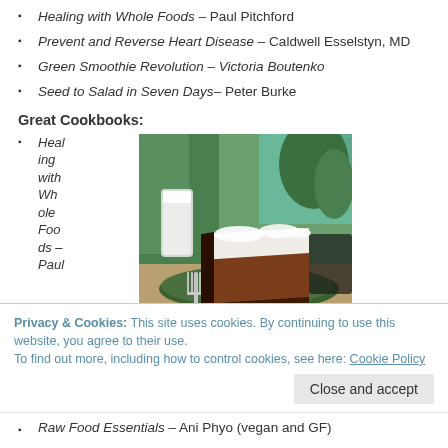Healing with Whole Foods – Paul Pitchford
Prevent and Reverse Heart Disease – Caldwell Esselstyn, MD
Green Smoothie Revolution – Victoria Boutenko
Seed to Salad in Seven Days– Peter Burke
Great Cookbooks:
Healing with Whole Foods – Paul
[Figure (photo): A slice of chocolate cream pie with white cream topping on a green plate with a fork, with a glass of milk and plants in the background.]
Privacy & Cookies: This site uses cookies. By continuing to use this website, you agree to their use.
To find out more, including how to control cookies, see here: Cookie Policy
Close and accept
Raw Food Essentials – Ani Phyo (vegan and GF)